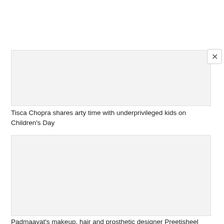[Figure (photo): Image placeholder for Tisca Chopra article]
Tisca Chopra shares arty time with underprivileged kids on Children's Day
[Figure (photo): Image placeholder for Padmaavat's makeup, hair and prosthetic designer Preetisheel Singh article]
Padmaavat's makeup, hair and prosthetic designer Preetisheel Singh on